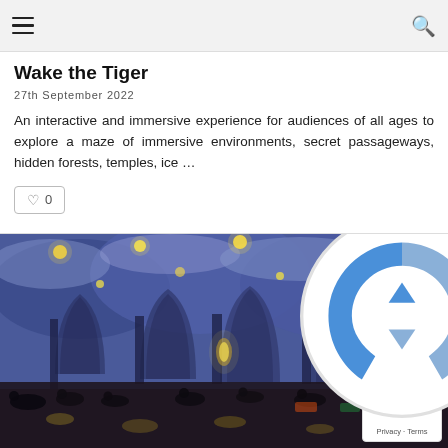Menu | Search
Wake the Tiger
27th September 2022
An interactive and immersive experience for audiences of all ages to explore a maze of immersive environments, secret passageways, hidden forests, temples, ice …
[Figure (photo): Immersive Van Gogh-style projection installation showing Starry Night artwork projected across walls and ceiling of a large hall, with visitors seated in deck chairs on the floor]
Privacy · Terms